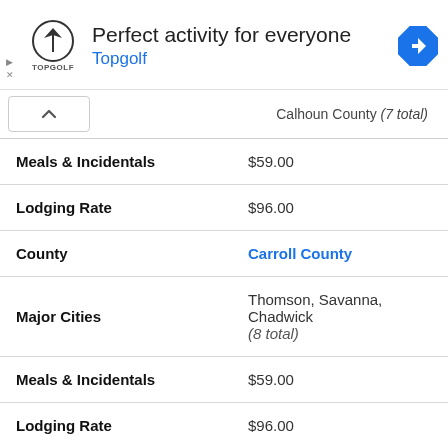[Figure (other): Topgolf advertisement banner with logo and navigation icon. Headline: 'Perfect activity for everyone', brand name 'Topgolf' in blue.]
| Field | Value |
| --- | --- |
| Calhoun County (7 total) |  |
| Meals & Incidentals | $59.00 |
| Lodging Rate | $96.00 |
| County | Carroll County |
| Major Cities | Thomson, Savanna, Chadwick (8 total) |
| Meals & Incidentals | $59.00 |
| Lodging Rate | $96.00 |
| County | Cass County |